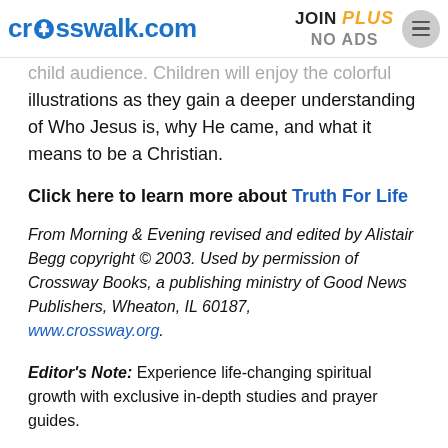crosswalk.com | JOIN PLUS NO ADS
child audience. Children will enjoy the colorful illustrations as they gain a deeper understanding of Who Jesus is, why He came, and what it means to be a Christian.
Click here to learn more about Truth For Life
From Morning & Evening revised and edited by Alistair Begg copyright © 2003. Used by permission of Crossway Books, a publishing ministry of Good News Publishers, Wheaton, IL 60187, www.crossway.org.
Editor's Note: Experience life-changing spiritual growth with exclusive in-depth studies and prayer guides.
Join Crosswalk PLUS for even more faith inspiration.